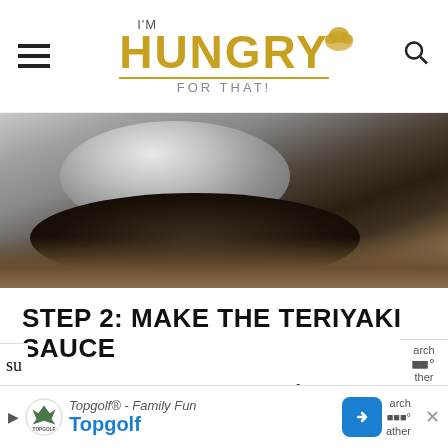I'm HUNGRY FOR THAT
[Figure (photo): Close-up photo of a shiny stainless steel mixing bowl on a stand mixer, with dark sauce residue inside, photographed from above at an angle on a kitchen counter.]
STEP 2: MAKE THE TERIYAKI SAUCE
Now, it’s time to make the star of this dish, the homemade teriyaki sauce. Before you
[Figure (screenshot): Advertisement bar for Topgolf - Family Fun, showing Topgolf logo, brand name in blue, navigation arrow button, and partially visible text on either side.]